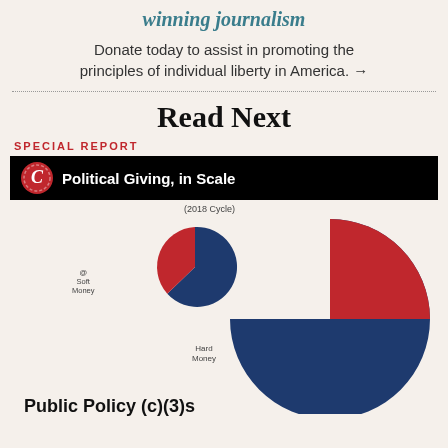winning journalism
Donate today to assist in promoting the principles of individual liberty in America. →
Read Next
SPECIAL REPORT
[Figure (pie-chart): Two pie charts showing political giving in scale for the 2018 cycle. A large pie chart with red and navy blue slices and a smaller comparison pie chart with similar colors. Labels: Soft Money, Hard Money.]
Public Policy (c)(3)s